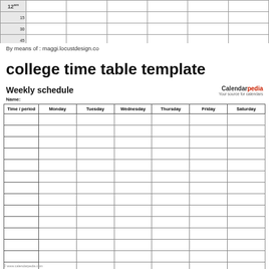[Figure (table-as-image): Partial view of a time schedule at top of page showing hour 12 with sub-rows 15, 30, 45]
By means of : maggi.locustdesign.co
college time table template
Weekly schedule
Name:
| Time / period | Monday | Tuesday | Wednesday | Thursday | Friday | Saturday |
| --- | --- | --- | --- | --- | --- | --- |
|  |  |  |  |  |  |  |
|  |  |  |  |  |  |  |
|  |  |  |  |  |  |  |
|  |  |  |  |  |  |  |
|  |  |  |  |  |  |  |
|  |  |  |  |  |  |  |
|  |  |  |  |  |  |  |
|  |  |  |  |  |  |  |
|  |  |  |  |  |  |  |
|  |  |  |  |  |  |  |
|  |  |  |  |  |  |  |
|  |  |  |  |  |  |  |
|  |  |  |  |  |  |  |
|  |  |  |  |  |  |  |
© www.calendarpedia.com